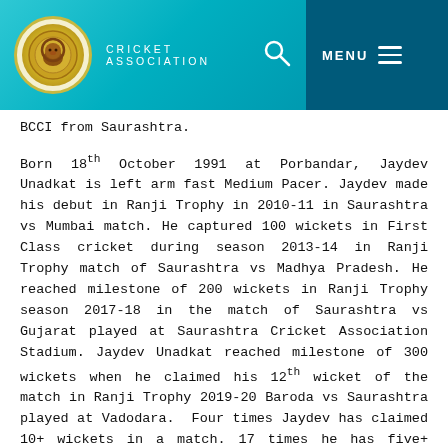CRICKET ASSOCIATION
BCCI from Saurashtra.
Born 18th October 1991 at Porbandar, Jaydev Unadkat is left arm fast Medium Pacer. Jaydev made his debut in Ranji Trophy in 2010-11 in Saurashtra vs Mumbai match. He captured 100 wickets in First Class cricket during season 2013-14 in Ranji Trophy match of Saurashtra vs Madhya Pradesh. He reached milestone of 200 wickets in Ranji Trophy season 2017-18 in the match of Saurashtra vs Gujarat played at Saurashtra Cricket Association Stadium. Jaydev Unadkat reached milestone of 300 wickets when he claimed his 12th wicket of the match in Ranji Trophy 2019-20 Baroda vs Saurashtra played at Vadodara. Four times Jaydev has claimed 10+ wickets in a match. 17 times he has five+ wickets haul in an innings in first class cricket.
Jaydev's performance in IPL has been remarkable. He is first ever bowler to bowl a triple wicket maiden in the final over. He has taken hat-trick in IPL 2017. Jaydev has played all